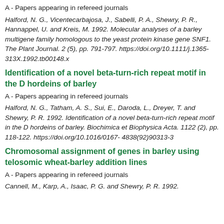A - Papers appearing in refereed journals
Halford, N. G., Vicentecarbajosa, J., Sabelli, P. A., Shewry, P. R., Hannappel, U. and Kreis, M. 1992. Molecular analyses of a barley multigene family homologous to the yeast protein kinase gene SNF1. The Plant Journal. 2 (5), pp. 791-797. https://doi.org/10.1111/j.1365-313X.1992.tb00148.x
Identification of a novel beta-turn-rich repeat motif in the D hordeins of barley
A - Papers appearing in refereed journals
Halford, N. G., Tatham, A. S., Sui, E., Daroda, L., Dreyer, T. and Shewry, P. R. 1992. Identification of a novel beta-turn-rich repeat motif in the D hordeins of barley. Biochimica et Biophysica Acta. 1122 (2), pp. 118-122. https://doi.org/10.1016/0167-4838(92)90313-3
Chromosomal assignment of genes in barley using telosomic wheat-barley addition lines
A - Papers appearing in refereed journals
Cannell, M., Karp, A., Isaac, P. G. and Shewry, P. R. 1992.